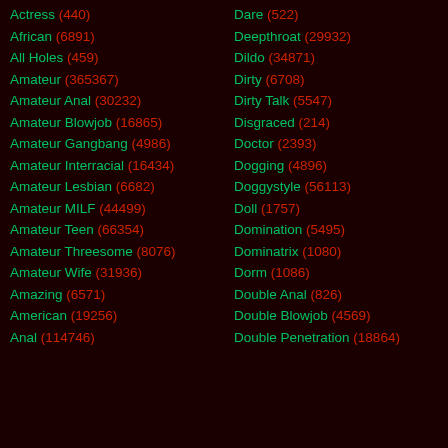Actress (440)
Dare (522)
African (6891)
Deepthroat (29932)
All Holes (459)
Dildo (34871)
Amateur (365367)
Dirty (6708)
Amateur Anal (30232)
Dirty Talk (5547)
Amateur Blowjob (16865)
Disgraced (214)
Amateur Gangbang (4986)
Doctor (2393)
Amateur Interracial (16434)
Dogging (4896)
Amateur Lesbian (6682)
Doggystyle (56113)
Amateur MILF (44499)
Doll (1757)
Amateur Teen (66354)
Domination (5495)
Amateur Threesome (8076)
Dominatrix (1080)
Amateur Wife (31936)
Dorm (1086)
Amazing (6571)
Double Anal (826)
American (19256)
Double Blowjob (4569)
Anal (114746)
Double Penetration (18864)